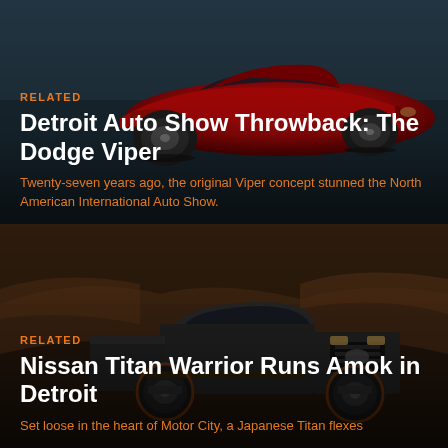[Figure (photo): Red Dodge Viper concept car photographed in a dark garage/studio setting, viewed from a front three-quarter angle]
RELATED
Detroit Auto Show Throwback: The Dodge Viper
Twenty-seven years ago, the original Viper concept stunned the North American International Auto Show.
[Figure (photo): Dark Nissan Titan Warrior pickup truck photographed in a rocky desert landscape at dusk]
RELATED
Nissan Titan Warrior Runs Amok in Detroit
Set loose in the heart of Motor City, a Japanese Titan flexes